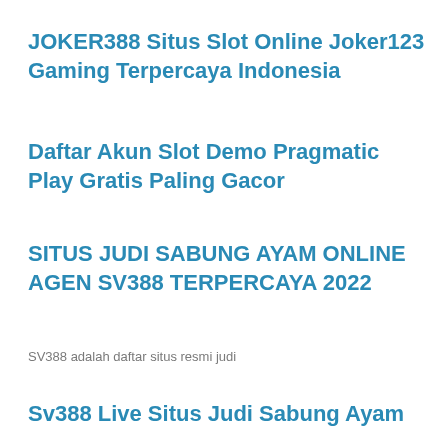JOKER388 Situs Slot Online Joker123 Gaming Terpercaya Indonesia
Daftar Akun Slot Demo Pragmatic Play Gratis Paling Gacor
SITUS JUDI SABUNG AYAM ONLINE AGEN SV388 TERPERCAYA 2022
SV388 adalah daftar situs resmi judi
Sv388 Live Situs Judi Sabung Ayam